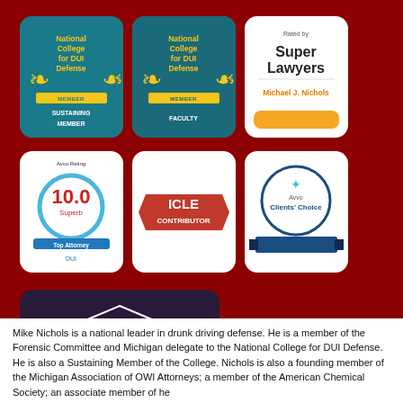[Figure (logo): National College for DUI Defense - Sustaining Member badge (teal with gold wreath)]
[Figure (logo): National College for DUI Defense - Faculty badge (teal with gold wreath)]
[Figure (logo): Rated by Super Lawyers - Michael J. Nichols badge (white with orange bar)]
[Figure (logo): Avvo Rating 10.0 Superb - Top Attorney DUI badge]
[Figure (logo): ICLE Contributor badge]
[Figure (logo): Avvo Clients' Choice badge]
[Figure (logo): Ingham County Bar Foundation logo (dark purple with courthouse columns)]
Mike Nichols is a national leader in drunk driving defense. He is a member of the Forensic Committee and Michigan delegate to the National College for DUI Defense. He is also a Sustaining Member of the College. Nichols is also a founding member of the Michigan Association of OWI Attorneys; a member of the American Chemical Society; an associate member of he